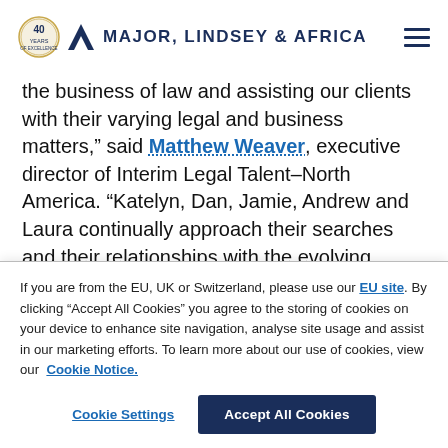Major, Lindsey & Africa
the business of law and assisting our clients with their varying legal and business matters," said Matthew Weaver, executive director of Interim Legal Talent–North America. "Katelyn, Dan, Jamie, Andrew and Laura continually approach their searches and their relationships with the evolving needs of our client's in
If you are from the EU, UK or Switzerland, please use our EU site. By clicking “Accept All Cookies” you agree to the storing of cookies on your device to enhance site navigation, analyse site usage and assist in our marketing efforts. To learn more about our use of cookies, view our Cookie Notice.
Cookie Settings | Accept All Cookies